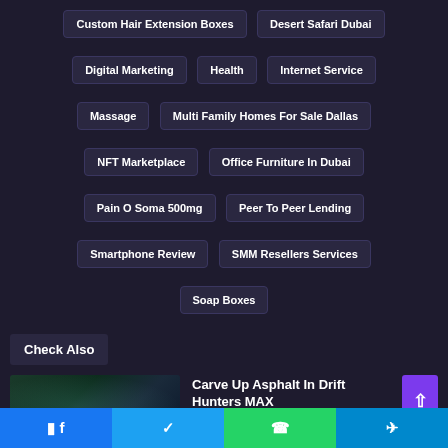Custom Hair Extension Boxes
Desert Safari Dubai
Digital Marketing
Health
Internet Service
Massage
Multi Family Homes For Sale Dallas
NFT Marketplace
Office Furniture In Dubai
Pain O Soma 500mg
Peer To Peer Lending
Smartphone Review
SMM Resellers Services
Soap Boxes
Check Also
Carve Up Asphalt In Drift Hunters MAX
Facebook | Twitter | WhatsApp | Telegram